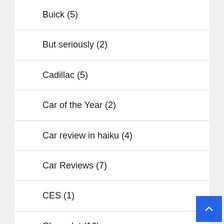Buick (5)
But seriously (2)
Cadillac (5)
Car of the Year (2)
Car review in haiku (4)
Car Reviews (7)
CES (1)
Chevrolet (16)
Chevrolet Volt (2)